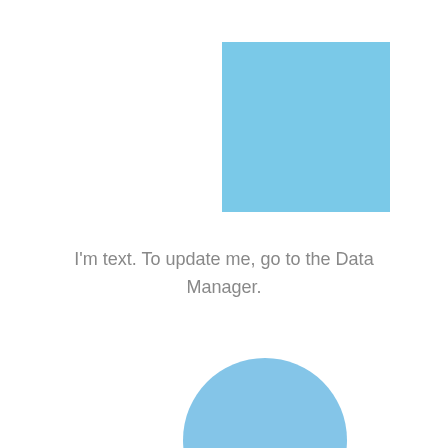[Figure (illustration): A light blue square placeholder image]
I'm text. To update me, go to the Data Manager.
[Figure (illustration): A light blue circle placeholder image]
12K
I'm text. To update me, go to the Data Manager.